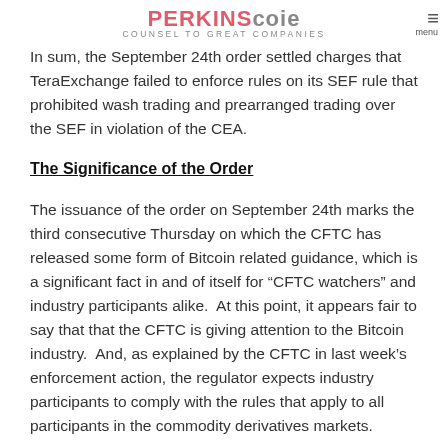PERKINS Coie — COUNSEL TO GREAT COMPANIES — menu
In sum, the September 24th order settled charges that TeraExchange failed to enforce rules on its SEF rule that prohibited wash trading and prearranged trading over the SEF in violation of the CEA.
The Significance of the Order
The issuance of the order on September 24th marks the third consecutive Thursday on which the CFTC has released some form of Bitcoin related guidance, which is a significant fact in and of itself for “CFTC watchers” and industry participants alike.  At this point, it appears fair to say that that the CFTC is giving attention to the Bitcoin industry.  And, as explained by the CFTC in last week’s enforcement action, the regulator expects industry participants to comply with the rules that apply to all participants in the commodity derivatives markets.